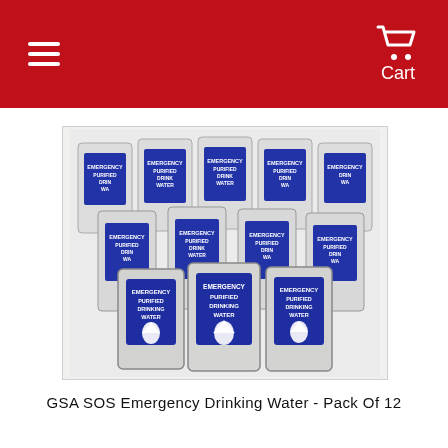Menu | Cart
[Figure (photo): Multiple pouches of Emergency Purified Drinking Water arranged in rows, with blue labels showing 'EMERGENCY PURIFIED DRINKING WATER' and a water droplet logo. Pack of 12 pouches displayed.]
GSA SOS Emergency Drinking Water - Pack Of 12